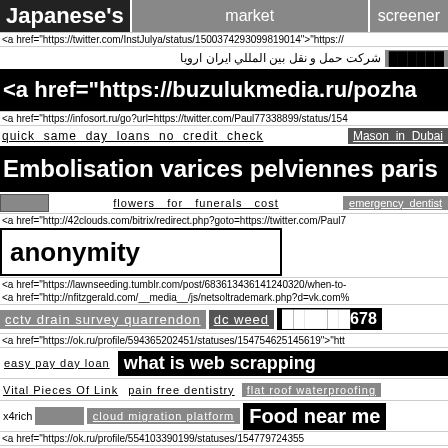Japanese's   market   screener
<a href="https://twitter.com/InstJulya/status/1500374293099819014">"https://
شركت حمل و نقل بين المللي ايران ارويا  ██████
<a href="https://buzulukmedia.ru/pozha
<a href="https://infosort.ru/go?url=https://twitter.com/Paul77338899/status/154
quick same day loans no credit check  Mason in Dubai
Embolisation varices pelviennes paris
□ □ □ □   flowers for funerals cost   emergency dentist
<a href="http://42clouds.com/bitrix/redirect.php?goto=https://twitter.com/Paul7
anonymity
<a href="https://lawnseeding.tumblr.com/post/683613436141240320/when-to-
<a href="http://nfitzgerald.com/__media__/js/netsoltrademark.php?d=vk.com%
cctv drain survey quarrendon  dc weed  ██████678
<a href="https://ok.ru/profile/594365202451/statuses/154754625145619">"htt
easy pay day loan   what is web scrapping
Vital Pieces Of Link   pain free dentistry   flat roof waterproofing
x4rich ██████   cloud migration platform   Food near me
<a href="https://ok.ru/profile/554103390199/statuses/154779724355
tip rhinoplasty cost  how much is a nose job  BETTER VISION
cheap cowboy hats   local SEO near Gary IN 46403
small loans without credit checks
<a href="https://twitter.com/YWKpngaakVEOtyB/status/14990616433718558
<a href="https://vk.com/wall-214344848_6">"https:/